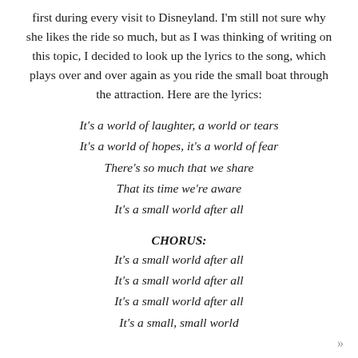first during every visit to Disneyland. I'm still not sure why she likes the ride so much, but as I was thinking of writing on this topic, I decided to look up the lyrics to the song, which plays over and over again as you ride the small boat through the attraction. Here are the lyrics:
It's a world of laughter, a world or tears
It's a world of hopes, it's a world of fear
There's so much that we share
That its time we're aware
It's a small world after all
CHORUS:
It's a small world after all
It's a small world after all
It's a small world after all
It's a small, small world
»